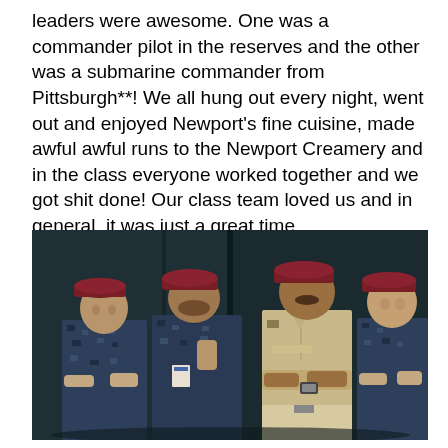leaders were awesome. One was a commander pilot in the reserves and the other was a submarine commander from Pittsburgh**! We all hung out every night, went out and enjoyed Newport's fine cuisine, made awful awful runs to the Newport Creamery and in the class everyone worked together and we got shit done! Our class team loved us and in general, it was just a great time.
[Figure (photo): Four military personnel wearing dark camouflage uniforms and dark red/maroon berets, posing together indoors. One person in the center-right is wearing a tan/khaki uniform with arms crossed. The others are in Navy Working Uniform (NWU) pattern camouflage with red berets.]